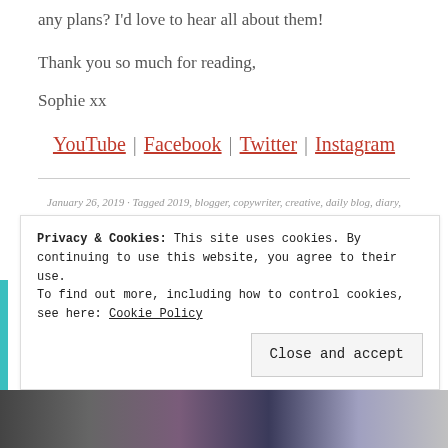any plans? I'd love to hear all about them!
Thank you so much for reading,
Sophie xx
YouTube | Facebook | Twitter | Instagram
January 26, 2019 · Tagged 2019, blogger, copywriter, creative, daily blog, diary, editing, freelance, lifestyle, what i did in a year, youtuber · Leave a comment
Privacy & Cookies: This site uses cookies. By continuing to use this website, you agree to their use.
To find out more, including how to control cookies, see here: Cookie Policy
Close and accept
[Figure (photo): Bottom image strip showing a partial photo collage]